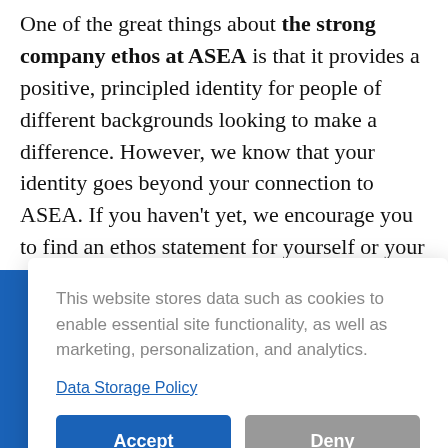One of the great things about the strong company ethos at ASEA is that it provides a positive, principled identity for people of different backgrounds looking to make a difference. However, we know that your identity goes beyond your connection to ASEA. If you haven't yet, we encourage you to find an ethos statement for yourself or your business. We've provide some helpful tips below
ates and t intended y disease. ts products onavirus, ation of ted.
This website stores data such as cookies to enable essential site functionality, as well as marketing, personalization, and analytics.
Data Storage Policy
Accept
Deny